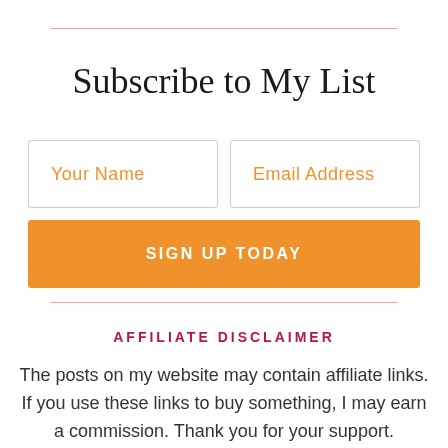Subscribe to My List
[Figure (other): Email subscription form with two input fields (Your Name, Email Address) and an orange Sign Up Today button]
AFFILIATE DISCLAIMER
The posts on my website may contain affiliate links. If you use these links to buy something, I may earn a commission. Thank you for your support.